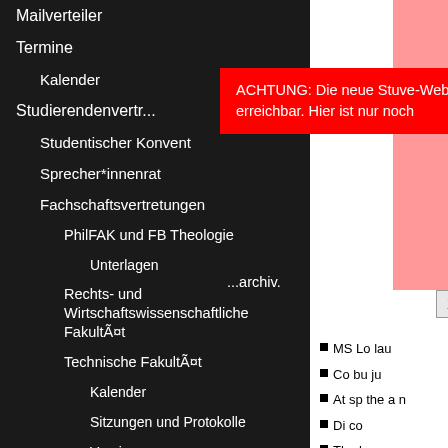Mailverteiler
Termine
Kalender
Studierendenvertr...
Studentischer Konvent
Sprecher*innenrat
Fachschaftsvertretungen
PhilFAK und FB Theologie
Unterlagen
Rechts- und Wirtschaftswissenschaftliche FakultÃ¤t
Technische FakultÃ¤t
Kalender
Sitzungen und Protokolle
Verein
FSIen
ACHTUNG: Die neue Stuve-Webseite ist unter [link] erreichbar. Hier ist nur noch ...archiv. X
MS Lo lau
Co bu ju
At sp the a n
Di co
Th al
Intang such a